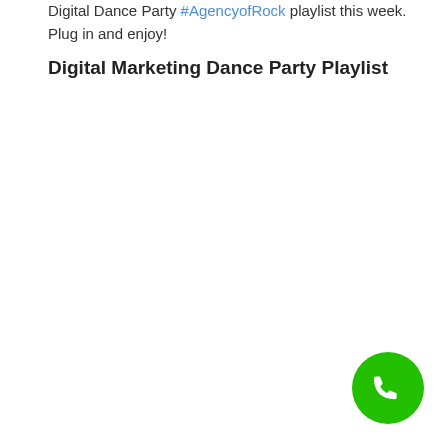Digital Dance Party #AgencyofRock playlist this week. Plug in and enjoy!
Digital Marketing Dance Party Playlist
[Figure (other): Green circular phone/call button in bottom-right corner]